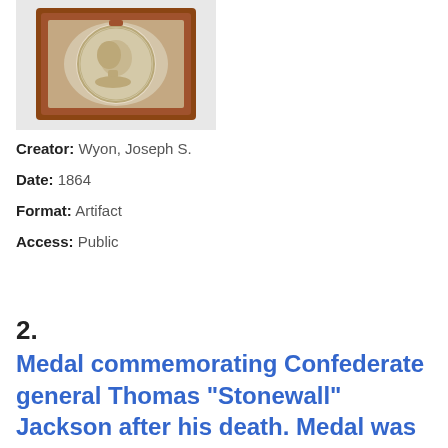[Figure (photo): Photograph of a medal in a wooden display case, showing a relief portrait profile on a circular medal set in a brown/reddish wooden box]
Creator: Wyon, Joseph S.
Date: 1864
Format: Artifact
Access: Public
2.
Medal commemorating Confederate general Thomas "Stonewall" Jackson after his death. Medal was designed and created in Paris by engraver